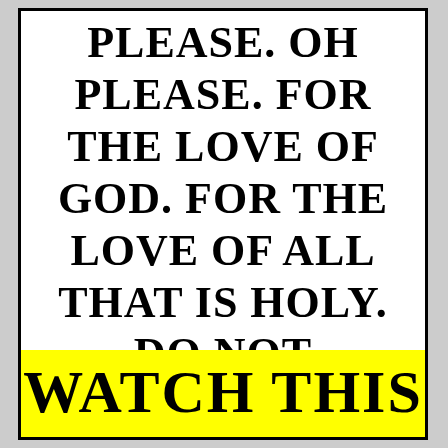PLEASE. OH PLEASE. FOR THE LOVE OF GOD. FOR THE LOVE OF ALL THAT IS HOLY. DO NOT
WATCH THIS